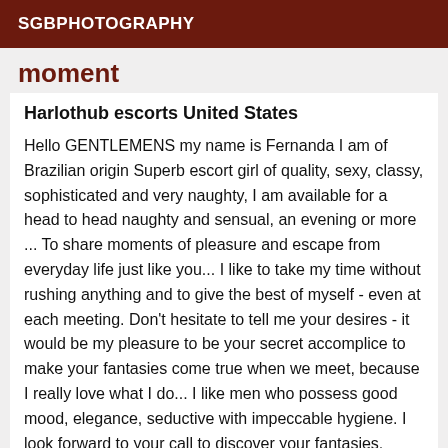SGBPHOTOGRAPHY
moment
Harlothub escorts United States
Hello GENTLEMENS my name is Fernanda I am of Brazilian origin Superb escort girl of quality, sexy, classy, sophisticated and very naughty, I am available for a head to head naughty and sensual, an evening or more ... To share moments of pleasure and escape from everyday life just like you... I like to take my time without rushing anything and to give the best of myself - even at each meeting. Don't hesitate to tell me your desires - it would be my pleasure to be your secret accomplice to make your fantasies come true when we meet, because I really love what I do... I like men who possess good mood, elegance, seductive with impeccable hygiene. I look forward to your call to discover your fantasies. *beautiful and very hot, enjoy without moderation* My photos they are real, recent made and verified